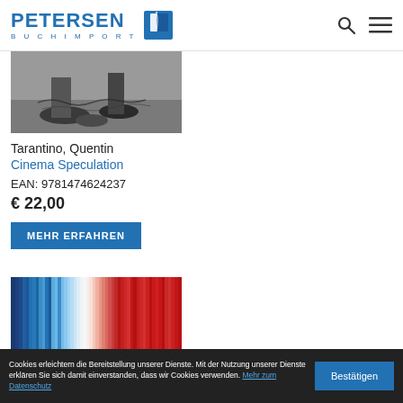PETERSEN BUCHIMPORT
[Figure (photo): Black and white photo showing feet/shoes on pavement, partially visible book cover for Cinema Speculation]
Tarantino, Quentin
Cinema Speculation
EAN: 9781474624237
€ 22,00
MEHR ERFAHREN
[Figure (photo): Warming stripes book cover with vertical color bars from blue to red, text THE visible at bottom]
Cookies erleichtern die Bereitstellung unserer Dienste. Mit der Nutzung unserer Dienste erklären Sie sich damit einverstanden, dass wir Cookies verwenden. Mehr zum Datenschutz
Bestätigen